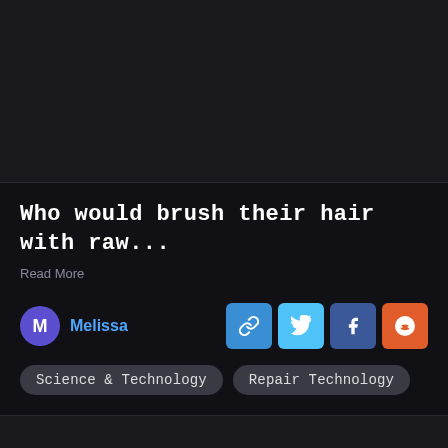Who would brush their hair with raw...
Read More
M Melissa
Science & Technology
Repair Technology